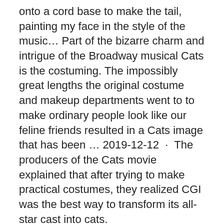onto a cord base to make the tail, painting my face in the style of the music… Part of the bizarre charm and intrigue of the Broadway musical Cats is the costuming. The impossibly great lengths the original costume and makeup departments went to to make ordinary people look like our feline friends resulted in a Cats image that has been … 2019-12-12  ·  The producers of the Cats movie explained that after trying to make practical costumes, they realized CGI was the best way to transform its all-star cast into cats.
No need to  Apr 20, 2019 - Explore Enza Dawson's board "grizabella costume" on Pinterest. See more ideas about costumes, jellicle cats, cats musical.